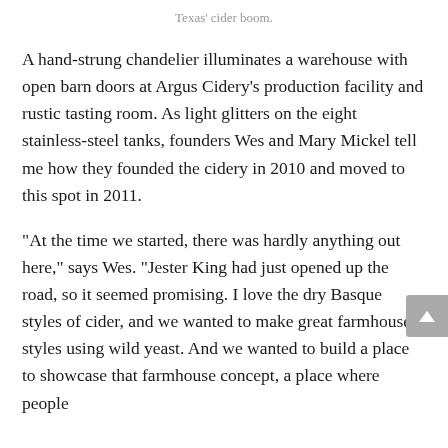Texas' cider boom.
A hand-strung chandelier illuminates a warehouse with open barn doors at Argus Cidery's production facility and rustic tasting room. As light glitters on the eight stainless-steel tanks, founders Wes and Mary Mickel tell me how they founded the cidery in 2010 and moved to this spot in 2011.
“At the time we started, there was hardly anything out here,” says Wes. “Jester King had just opened up the road, so it seemed promising. I love the dry Basque styles of cider, and we wanted to make great farmhouse styles using wild yeast. And we wanted to build a place to showcase that farmhouse concept, a place where people